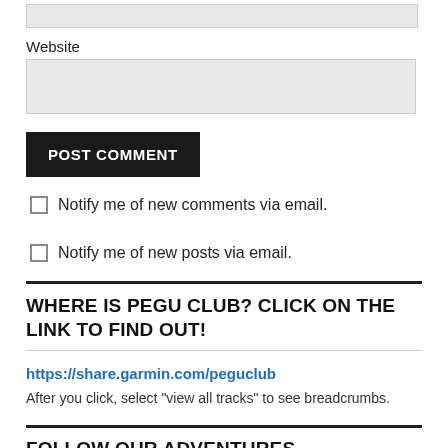Website
[input field]
POST COMMENT
Notify me of new comments via email.
Notify me of new posts via email.
WHERE IS PEGU CLUB? CLICK ON THE LINK TO FIND OUT!
https://share.garmin.com/peguclub
After you click, select "view all tracks" to see breadcrumbs.
FOLLOW OUR ADVENTURES